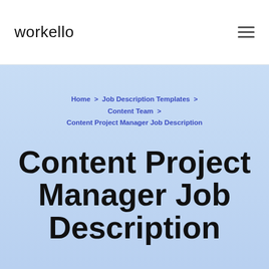workello
Home > Job Description Templates > Content Team > Content Project Manager Job Description
Content Project Manager Job Description